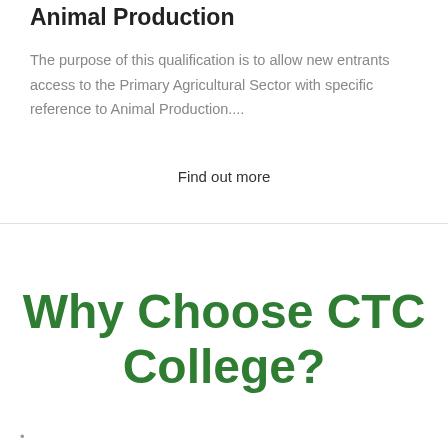Animal Production
The purpose of this qualification is to allow new entrants access to the Primary Agricultural Sector with specific reference to Animal Production....
Find out more
Why Choose CTC College?